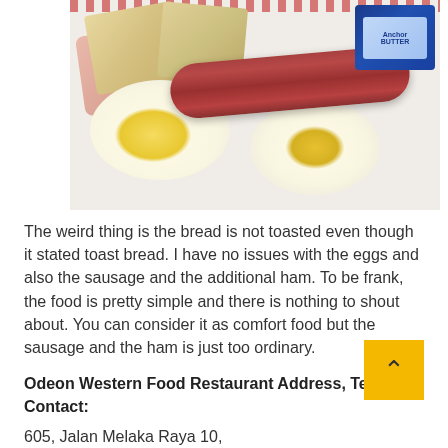[Figure (photo): Plate of breakfast food showing two fried eggs, a sausage/frankfurter, toast bread slices, ham, and an Anchor butter packet on the upper right corner.]
The weird thing is the bread is not toasted even though it stated toast bread. I have no issues with the eggs and also the sausage and the additional ham. To be frank, the food is pretty simple and there is nothing to shout about. You can consider it as comfort food but the sausage and the ham is just too ordinary.
Odeon Western Food Restaurant Address, Tel and Contact:
605, Jalan Melaka Raya 10,